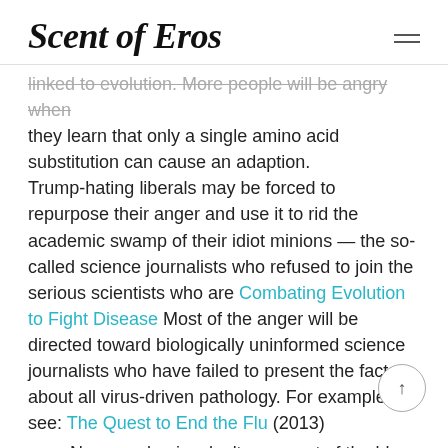Scent of Eros
linked to evolution. More people will be angry when they learn that only a single amino acid substitution can cause an adaption. Trump-hating liberals may be forced to repurpose their anger and use it to rid the academic swamp of their idiot minions — the so-called science journalists who refused to join the serious scientists who are Combating Evolution to Fight Disease Most of the anger will be directed toward biologically uninformed science journalists who have failed to present the facts about all virus-driven pathology. For example see: The Quest to End the Flu (2013)
New pandemics don't come out of the blue. They evolve from viruses that infect animals—